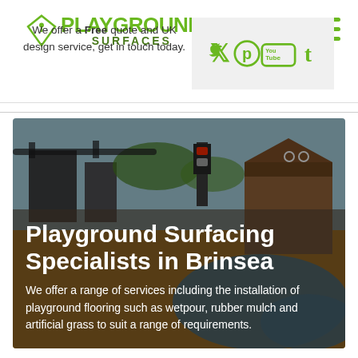[Figure (logo): Playground Surfaces logo with green diamond/location pin icon and green text]
[Figure (infographic): Hamburger menu icon (three green horizontal lines) in top right corner]
[Figure (infographic): Social media icons bar: Twitter, Pinterest, YouTube, Tumblr — all in green on grey background]
We offer a Free quote and UK design service, get in touch today.
[Figure (photo): Hero image of a playground with rubber surfacing in yellow/orange and blue, with wooden structures in background. Overlay text reads: Playground Surfacing Specialists in Brinsea. We offer a range of services including the installation of playground flooring such as wetpour, rubber mulch and artificial grass to suit a range of requirements.]
Playground Surfacing Specialists in Brinsea
We offer a range of services including the installation of playground flooring such as wetpour, rubber mulch and artificial grass to suit a range of requirements.